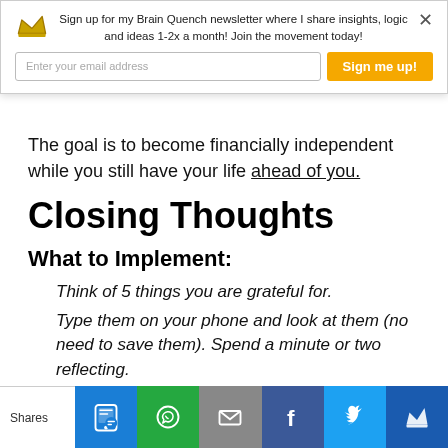[Figure (screenshot): Newsletter popup banner with crown icon, 'Sign up for my Brain Quench newsletter where I share insights, logic and ideas 1-2x a month! Join the movement today!', email input field, and 'Sign me up!' yellow button, plus close X]
The goal is to become financially independent while you still have your life ahead of you.
Closing Thoughts
What to Implement:
Think of 5 things you are grateful for.
Type them on your phone and look at them (no need to save them). Spend a minute or two reflecting.
Do this every morning, when you wake. Make it
[Figure (screenshot): Bottom social share bar with Shares label and icons for SMS, WhatsApp, Email, Facebook, Twitter, and Crown/Referral]